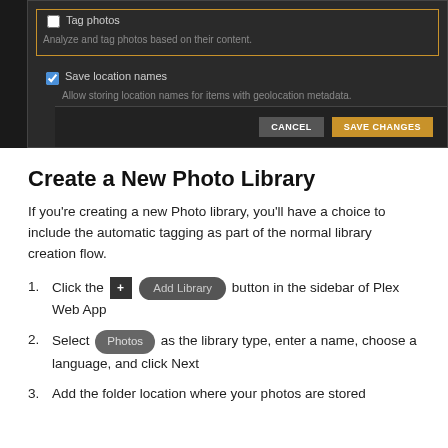[Figure (screenshot): Dark-themed application dialog showing 'Tag photos' checkbox with description 'Analyze and tag photos based on their content.' highlighted with orange border, and 'Save location names' checkbox checked with description 'Allow storing location names for items with geolocation metadata.' Below is a button row with CANCEL and SAVE CHANGES buttons.]
Create a New Photo Library
If you’re creating a new Photo library, you’ll have a choice to include the automatic tagging as part of the normal library creation flow.
Click the [+] Add Library button in the sidebar of Plex Web App
Select Photos as the library type, enter a name, choose a language, and click Next
Add the folder location where your photos are stored